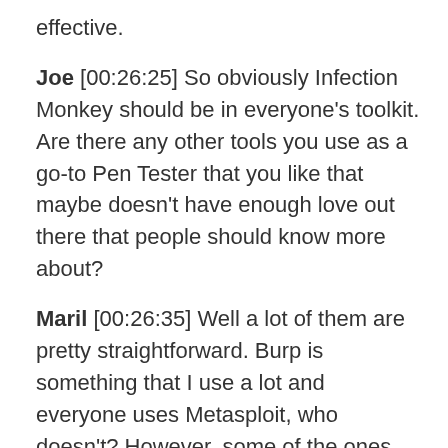effective.
Joe [00:26:25] So obviously Infection Monkey should be in everyone's toolkit. Are there any other tools you use as a go-to Pen Tester that you like that maybe doesn't have enough love out there that people should know more about?
Maril [00:26:35] Well a lot of them are pretty straightforward. Burp is something that I use a lot and everyone uses Metasploit, who doesn't? However, some of the ones that I really love that I don't think get enough attention are Atomic Red Team. Our Red Canary, shout out to them. Amazing tool you've got out there, guys. Another one is